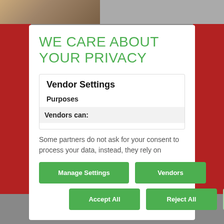WE CARE ABOUT YOUR PRIVACY
Vendor Settings
Purposes
Vendors can:
Some partners do not ask for your consent to process your data, instead, they rely on
Manage Settings | Vendors | Accept All | Reject All | Save & Exit